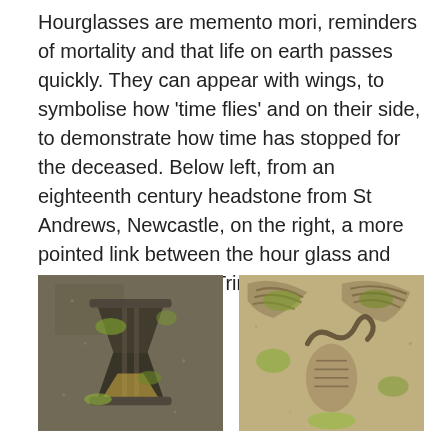Hourglasses are memento mori, reminders of mortality and that life on earth passes quickly. They can appear with wings, to symbolise how 'time flies' and on their side, to demonstrate how time has stopped for the deceased. Below left, from an eighteenth century headstone from St Andrews, Newcastle, on the right, a more pointed link between the hour glass and mortality, from Holy Trinity, Washington, Tyne and Wear.
[Figure (photo): A moss-covered stone carving of an hourglass on a headstone, with green moss and lichen growing on the grey stone surface.]
[Figure (photo): A close-up of a stone carving showing wings and a snake or skeletal figure, with green tinges on the sandy-coloured stone, from Holy Trinity, Washington, Tyne and Wear.]